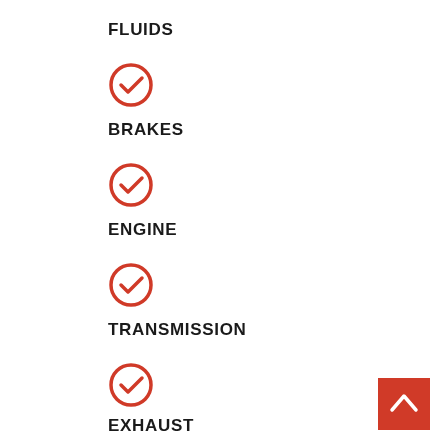FLUIDS
[Figure (illustration): Red circle with white checkmark icon]
BRAKES
[Figure (illustration): Red circle with white checkmark icon]
ENGINE
[Figure (illustration): Red circle with white checkmark icon]
TRANSMISSION
[Figure (illustration): Red circle with white checkmark icon]
EXHAUST
[Figure (illustration): Red square button with white upward chevron arrow]